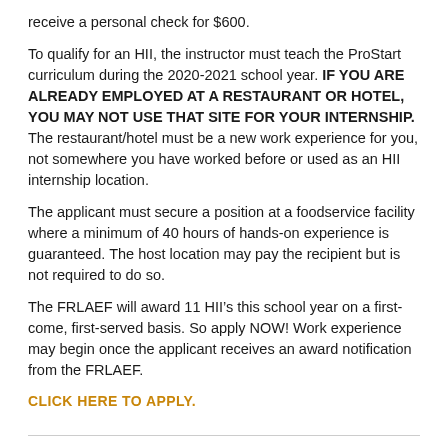receive a personal check for $600.
To qualify for an HII, the instructor must teach the ProStart curriculum during the 2020-2021 school year. IF YOU ARE ALREADY EMPLOYED AT A RESTAURANT OR HOTEL, YOU MAY NOT USE THAT SITE FOR YOUR INTERNSHIP. The restaurant/hotel must be a new work experience for you, not somewhere you have worked before or used as an HII internship location.
The applicant must secure a position at a foodservice facility where a minimum of 40 hours of hands-on experience is guaranteed. The host location may pay the recipient but is not required to do so.
The FRLAEF will award 11 HII’s this school year on a first-come, first-served basis. So apply NOW! Work experience may begin once the applicant receives an award notification from the FRLAEF.
CLICK HERE TO APPLY.
ONLINE RESOURCES PAGE–UPDATED WITH VIRGINIA PROSTART CONTENT